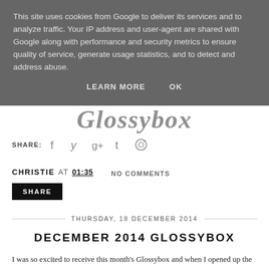This site uses cookies from Google to deliver its services and to analyze traffic. Your IP address and user-agent are shared with Google along with performance and security metrics to ensure quality of service, generate usage statistics, and to detect and address abuse.
LEARN MORE   OK
[Figure (logo): Cursive/script blog logo text partially visible behind cookie overlay]
SHARE:  [facebook] [twitter] [google+] [tumblr] [pinterest]
CHRISTIE AT 01:35   NO COMMENTS
SHARE
THURSDAY, 18 DECEMBER 2014
DECEMBER 2014 GLOSSYBOX
I was so excited to receive this month's Glossybox and when I opened up the